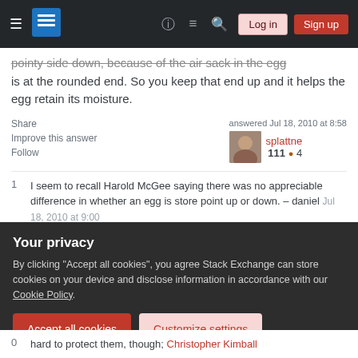Stack Exchange navigation bar with hamburger, logo, help, chat, search, Log in, Sign up
pointy side down, because of the air sack in the egg is at the rounded end. So you keep that end up and it helps the egg retain its moisture.
Share   Improve this answer   Follow   answered Jul 18, 2010 at 8:58   splattne   111 ●4
1   I seem to recall Harold McGee saying there was no appreciable difference in whether an egg is store point up or down. – daniel Jul 18, 2010 at 9:00
Someone ended up asking about this: Store eggs
Your privacy
By clicking "Accept all cookies", you agree Stack Exchange can store cookies on your device and disclose information in accordance with our Cookie Policy.
Accept all cookies   Customize settings
0   hard to protect them, though; Christopher Kimball